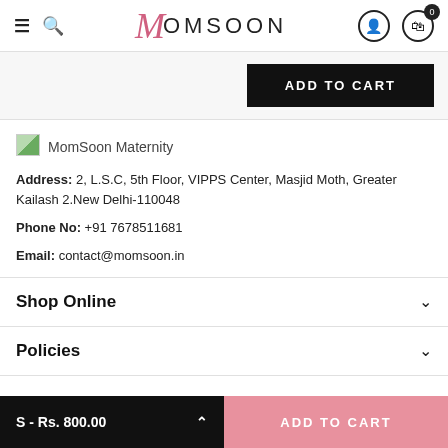MomSoon - navigation header with hamburger, search, logo, account, and cart (0)
ADD TO CART
[Figure (logo): MomSoon Maternity store logo image placeholder]
MomSoon Maternity
Address: 2, L.S.C, 5th Floor, VIPPS Center, Masjid Moth, Greater Kailash 2.New Delhi-110048
Phone No: +91 7678511681
Email: contact@momsoon.in
Shop Online
Policies
S - Rs. 800.00  ADD TO CART